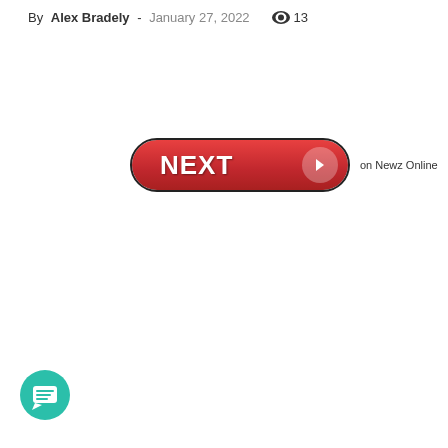By Alex Bradely - January 27, 2022  👁 13
[Figure (other): A red pill-shaped button with white bold text 'NEXT' and a right-arrow icon on the right side, followed by text 'on Newz Online']
[Figure (other): A teal/green circular chat bubble icon in the bottom-left corner]